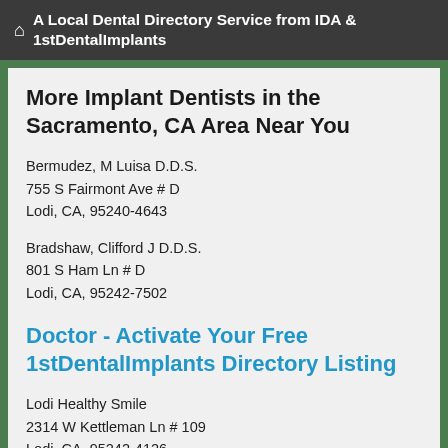A Local Dental Directory Service from IDA & 1stDentalImplants
More Implant Dentists in the Sacramento, CA Area Near You
Bermudez, M Luisa D.D.S.
755 S Fairmont Ave # D
Lodi, CA, 95240-4643
Bradshaw, Clifford J D.D.S.
801 S Ham Ln # D
Lodi, CA, 95242-7502
Doctor - Activate Your Free 1stDentalImplants Directory Listing
Lodi Healthy Smile
2314 W Kettleman Ln # 109
Lodi, CA, 95242-4126
Wong, Leslie N S D.D.S.
804 W Lodi Ave
Lodi, CA, 95242-3268